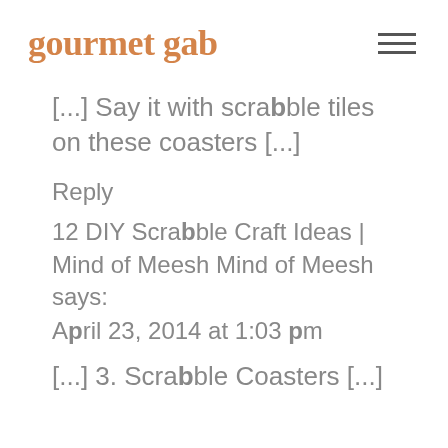gourmet gab
[...] Say it with scrabble tiles on these coasters [...]
Reply
12 DIY Scrabble Craft Ideas | Mind of Meesh Mind of Meesh says:
April 23, 2014 at 1:03 pm
[...] 3. Scrabble Coasters [...]